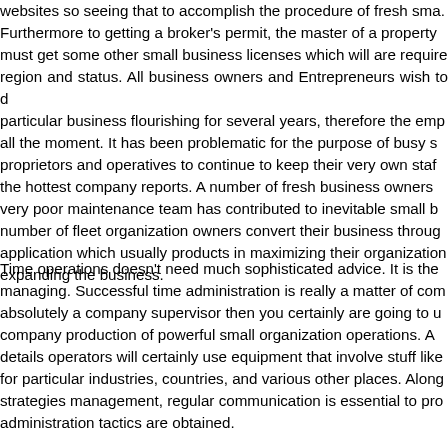websites so seeing that to accomplish the procedure of fresh sma... Furthermore to getting a broker's permit, the master of a property must get some other small business licenses which will are require region and status. All business owners and Entrepreneurs wish to d particular business flourishing for several years, therefore the emp all the moment. It has been problematic for the purpose of busy s proprietors and operatives to continue to keep their very own staf the hottest company reports. A number of fresh business owners very poor maintenance team has contributed to inevitable small b number of fleet organization owners convert their business throu application which usually products in maximizing their organization expanding the business.
Time operations doesn't need much sophisticated advice. It is the managing. Successful time administration is really a matter of com absolutely a company supervisor then you certainly are going to u company production of powerful small organization operations. A details operators will certainly use equipment that involve stuff like for particular industries, countries, and various other places. Along strategies management, regular communication is essential to pro administration tactics are obtained.